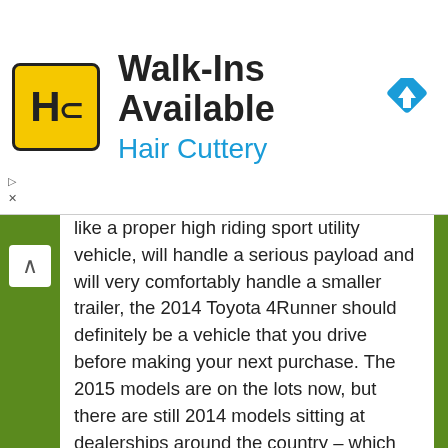[Figure (logo): Hair Cuttery advertisement banner with HC logo, 'Walk-Ins Available' heading, 'Hair Cuttery' subheading in blue, and a navigation/directions icon]
like a proper high riding sport utility vehicle, will handle a serious payload and will very comfortably handle a smaller trailer, the 2014 Toyota 4Runner should definitely be a vehicle that you drive before making your next purchase. The 2015 models are on the lots now, but there are still 2014 models sitting at dealerships around the country – which means that some careful shopping can get you this great midsized SUV with an end-of-year discount.
For those buyers who want their 4Runner to be a little tougher, read more on the award-winning TRD Pro model by clicking here.
New Vehicle Reviews
Toyota News, Pricing and Reviews